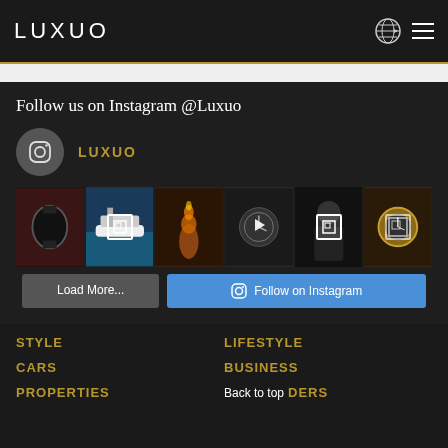LUXUO
Follow us on Instagram @Luxuo
LUXUO
[Figure (screenshot): Instagram photo grid showing 6 posts: luxury watch, yacht, whiskey/fire, watch closeup video, man in black outfit, luxury watch close-up]
Load More...
Follow on Instagram
STYLE
LIFESTYLE
CARS
BUSINESS
PROPERTIES
Back to top
DERS